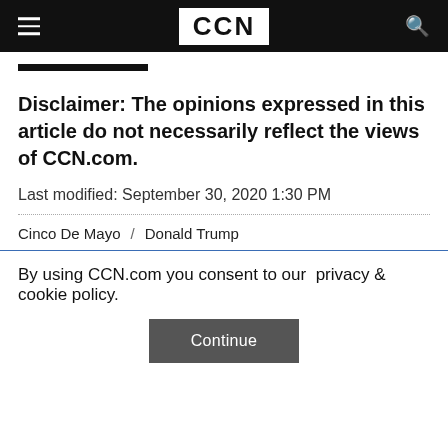CCN
Disclaimer: The opinions expressed in this article do not necessarily reflect the views of CCN.com.
Last modified: September 30, 2020 1:30 PM
Cinco De Mayo / Donald Trump
By using CCN.com you consent to our  privacy & cookie policy.
Continue